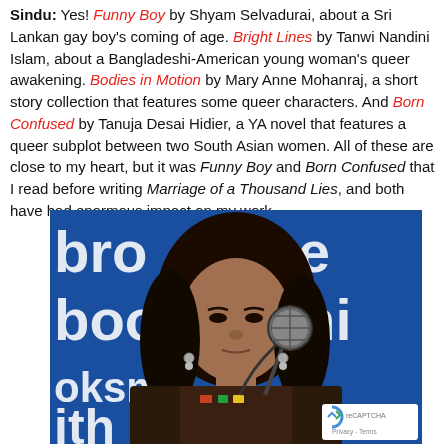Sindu: Yes! Funny Boy by Shyam Selvadurai, about a Sri Lankan gay boy's coming of age. Bright Lines by Tanwi Nandini Islam, about a Bangladeshi-American young woman's queer awakening. Bodies in Motion by Mary Anne Mohanraj, a short story collection that features some queer characters. And Born Confused by Tanuja Desai Hidier, a YA novel that features a queer subplot between two South Asian women. All of these are close to my heart, but it was Funny Boy and Born Confused that I read before writing Marriage of a Thousand Lies, and both have had enormous impact on my work.
[Figure (photo): A young South Asian woman with long curly dark hair speaking into a microphone, wearing dark clothing with embroidery, in front of a blue banner with white text reading 'Brookline Booksmith' (partially visible as 'bro', 'line', 'booksm', 'ith'). A reCAPTCHA Privacy-Terms badge is visible in the bottom right corner.]